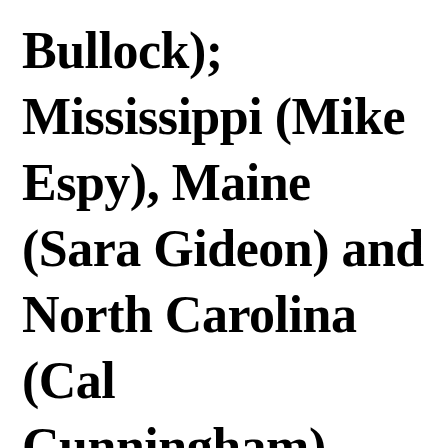Bullock); Mississippi (Mike Espy), Maine (Sara Gideon) and North Carolina (Cal Cunningham). They all have a shot, and